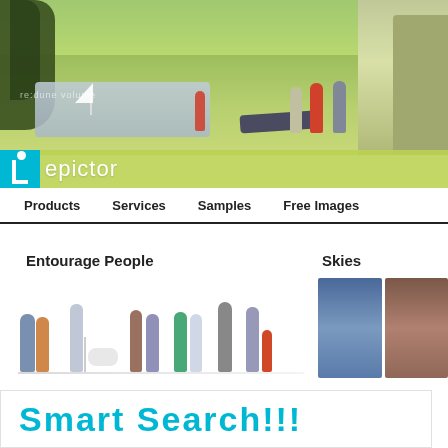[Figure (photo): Park scene banner with people relaxing, walking, a sailboat on water, and trees. Shows groups of people in an outdoor park setting with green grass and water feature.]
epictor
Products   Services   Samples   Free Images
Entourage People
[Figure (illustration): Cutout illustrations of people in various poses: couples, individuals, person with dog, groups walking and standing]
Skies
[Figure (photo): Sky thumbnail images showing blue sky and brownish-purple sky samples]
Smart Search!!!